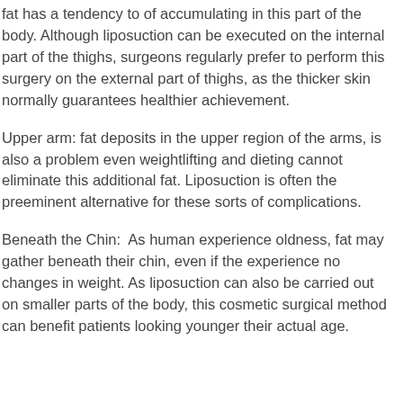fat has a tendency to of accumulating in this part of the body. Although liposuction can be executed on the internal part of the thighs, surgeons regularly prefer to perform this surgery on the external part of thighs, as the thicker skin normally guarantees healthier achievement.
Upper arm: fat deposits in the upper region of the arms, is also a problem even weightlifting and dieting cannot eliminate this additional fat. Liposuction is often the preeminent alternative for these sorts of complications.
Beneath the Chin:  As human experience oldness, fat may gather beneath their chin, even if the experience no changes in weight. As liposuction can also be carried out on smaller parts of the body, this cosmetic surgical method can benefit patients looking younger their actual age.